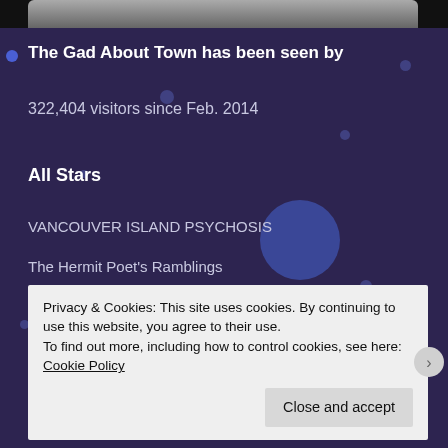[Figure (photo): Partial photo strip at the top of the page showing a black and white photograph]
The Gad About Town has been seen by
322,404 visitors since Feb. 2014
All Stars
VANCOUVER ISLAND PSYCHOSIS
The Hermit Poet's Ramblings
HeiressMommy™
Privacy & Cookies: This site uses cookies. By continuing to use this website, you agree to their use.
To find out more, including how to control cookies, see here: Cookie Policy
Close and accept